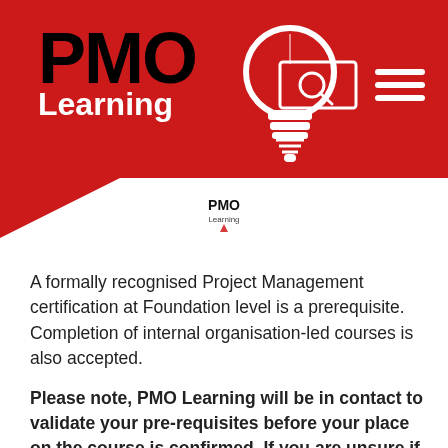[Figure (logo): PMO Learning logo with lightbulb icon on red background header banner, with search box and hamburger menu icons]
[Figure (logo): Small PMO Learning logo centered below the red header]
A formally recognised Project Management certification at Foundation level is a prerequisite. Completion of internal organisation-led courses is also accepted.
Please note, PMO Learning will be in contact to validate your pre-requisites before your place on the course is confirmed. If you are unsure if you have met the pre-requisites, please get in touch.